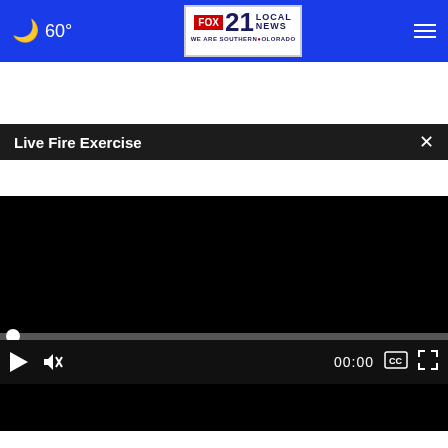60° FOX 21 LOCAL NEWS - WE ARE SOUTHERN COLORADO
Live Fire Exercise
[Figure (screenshot): Video player showing black screen with progress bar at start (00:00) and playback controls including play button, mute button, time display, captions button, and fullscreen button]
[Figure (photo): Partial image visible below the video player showing a rocky/pebbly surface]
Ashburn OPEN | 7:30AM–6PM 43781 Parkhurst Plaza, Ashburn